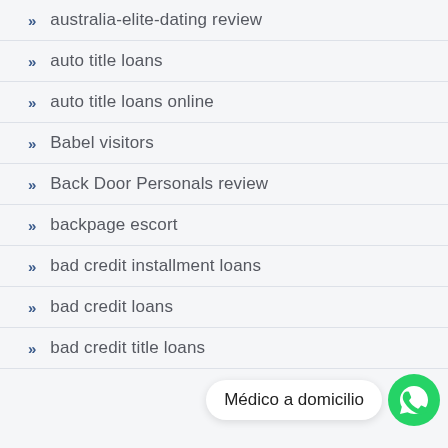australia-elite-dating review
auto title loans
auto title loans online
Babel visitors
Back Door Personals review
backpage escort
bad credit installment loans
bad credit loans
bad credit title loans